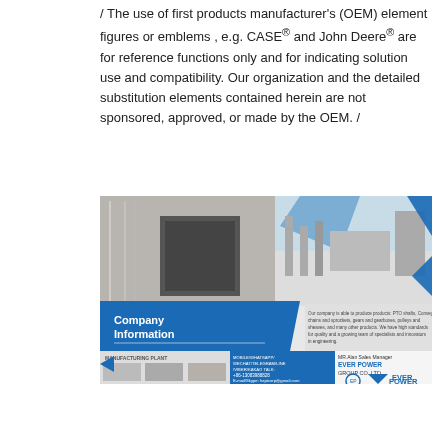/ The use of first products manufacturer's (OEM) element figures or emblems , e.g. CASE® and John Deere® are for reference functions only and for indicating solution use and compatibility. Our organization and the detailed substitution elements contained herein are not sponsored, approved, or made by the OEM. /
[Figure (infographic): Company Information panel for Ever Power Group Co.,Ltd showing manufacturing facility photos, company info text, contact details for MR.Alan Sales Manager including mobile/WhatsApp/WeChat/Telegram/Line/Viber/KakaoTalk, phone +86-13083988828, email hzptcorp@gmail.com, and Ever Power logo with blue triangles.]